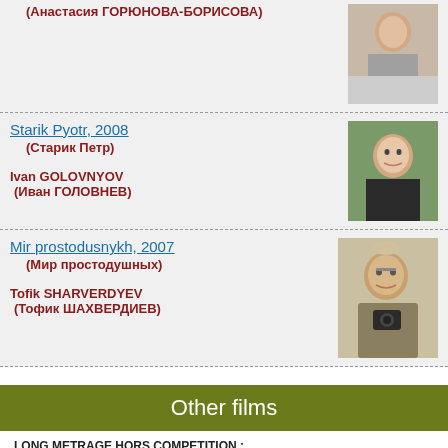(Анастасия ГОРЮНОВА-БОРИСОВА)
Starik Pyotr, 2008
(Старик Петр)
Ivan GOLOVNYOV
(Иван ГОЛОВНЕВ)
[Figure (photo): Portrait photo of Ivan Golovnyov]
Mir prostodusnykh, 2007
(Мир простодушных)
Tofik SHARVERDYEV
(Тофик ШАХВЕРДИЕВ)
[Figure (photo): Portrait photo of Tofik Sharverdyev holding a camera]
Other films
LONG METRAGE HORS COMPETITION :
- Bibinur, Youry Feting, 100 min